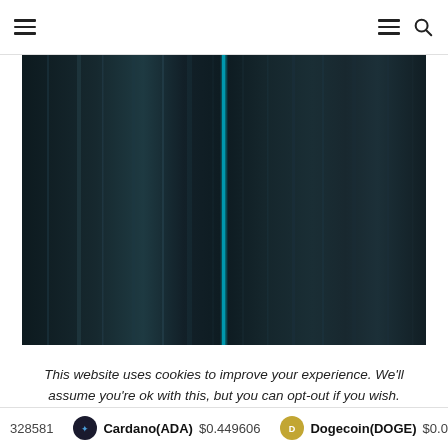Navigation header with hamburger menu and search icon
[Figure (photo): Dark abstract image with vertical streaks in dark teal and near-black tones, with a bright teal vertical line near the center]
This website uses cookies to improve your experience. We'll assume you're ok with this, but you can opt-out if you wish.
...28581   Cardano(ADA) $0.449606   Dogecoin(DOGE) $0.0632...